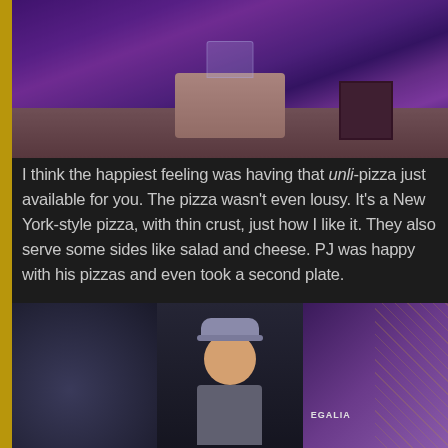[Figure (photo): Interior photo of a restaurant or mall space with purple ambient lighting, a circular wooden counter/bar in the center, a glass display case above it, wooden flooring with circular pattern, a dark wooden chair visible on the right, and purple-lit background]
I think the happiest feeling was having that unli-pizza just available for you. The pizza wasn't even lousy. It's a New York-style pizza, with thin crust, just how I like it. They also serve some sides like salad and cheese. PJ was happy with his pizzas and even took a second plate.
[Figure (photo): Three-panel collage of photos: left panel shows a dark interior with sparkly/sequined decoration, center panel shows a young man wearing a gray cap smiling at the camera, right panel shows a purple-lit interior with a diamond/lattice pattern wall and an 'EGALIA' sign visible]